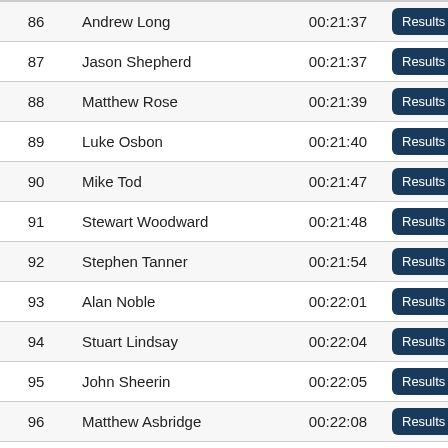| # | Name | Time |  |
| --- | --- | --- | --- |
| 86 | Andrew Long | 00:21:37 | Results |
| 87 | Jason Shepherd | 00:21:37 | Results |
| 88 | Matthew Rose | 00:21:39 | Results |
| 89 | Luke Osbon | 00:21:40 | Results |
| 90 | Mike Tod | 00:21:47 | Results |
| 91 | Stewart Woodward | 00:21:48 | Results |
| 92 | Stephen Tanner | 00:21:54 | Results |
| 93 | Alan Noble | 00:22:01 | Results |
| 94 | Stuart Lindsay | 00:22:04 | Results |
| 95 | John Sheerin | 00:22:05 | Results |
| 96 | Matthew Asbridge | 00:22:08 | Results |
| 97 | Tracy Tuplin | 00:22:11 | Results |
| 98 | Karen Sinkinson | 00:22:16 | Results |